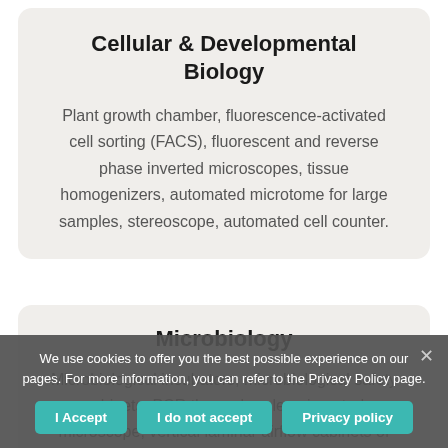Cellular & Developmental Biology
Plant growth chamber, fluorescence-activated cell sorting (FACS), fluorescent and reverse phase inverted microscopes, tissue homogenizers, automated microtome for large samples, stereoscope, automated cell counter.
Microbiology
Microbiological incubators, microbiological safety cabinets, PCR thermal cyclers, inverted microscope, vertical laminar airflow cabinets of class I and II biosafety, vacuum rotary evaporator system, solid phase extraction vacuum system with
We use cookies to offer you the best possible experience on our pages. For more information, you can refer to the Privacy Policy page.